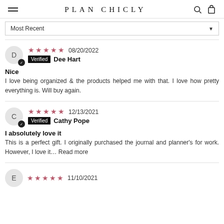PLAN CHICLY
Most Recent
★★★★★  08/20/2022  Verified  Dee Hart
Nice
I love being organized & the products helped me with that. I love how pretty everything is. Will buy again.
★★★★★  12/13/2021  Verified  Cathy Pope
I absolutely love it
This is a perfect gift. I originally purchased the journal and planner's for work. However, I love it… Read more
★★★★★  11/10/2021